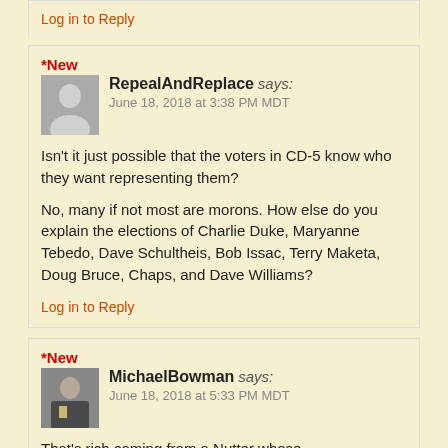Log in to Reply (truncated top)
*New
RepealAndReplace says:
June 18, 2018 at 3:38 PM MDT
Isn't it just possible that the voters in CD-5 know who they want representing them?
No, many if not most are morons. How else do you explain the elections of Charlie Duke, Maryanne Tebedo, Dave Schultheis, Bob Issac, Terry Maketa, Doug Bruce, Chaps, and Dave Williams?
Log in to Reply
*New
MichaelBowman says:
June 18, 2018 at 5:33 PM MDT
That's rich coming from a Nutter whose